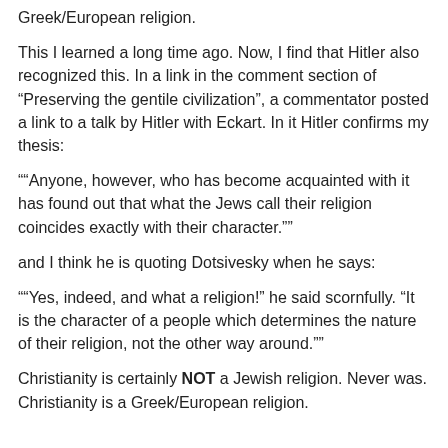Greek/European religion.
This I learned a long time ago. Now, I find that Hitler also recognized this. In a link in the comment section of “Preserving the gentile civilization”, a commentator posted a link to a talk by Hitler with Eckart. In it Hitler confirms my thesis:
““Anyone, however, who has become acquainted with it has found out that what the Jews call their religion coincides exactly with their character.””
and I think he is quoting Dotsivesky when he says:
““Yes, indeed, and what a religion!” he said scornfully. “It is the character of a people which determines the nature of their religion, not the other way around.””
Christianity is certainly NOT a Jewish religion. Never was. Christianity is a Greek/European religion.